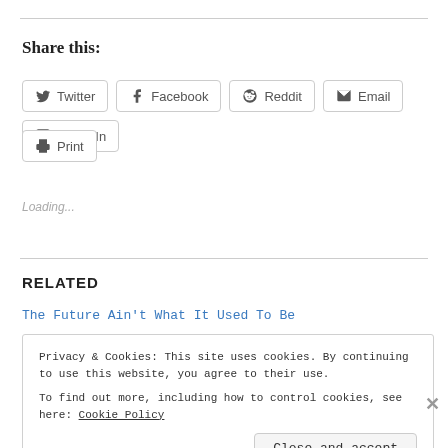Share this:
[Figure (other): Social share buttons: Twitter, Facebook, Reddit, Email, LinkedIn, Print]
Loading...
RELATED
The Future Ain't What It Used To Be
Privacy & Cookies: This site uses cookies. By continuing to use this website, you agree to their use.
To find out more, including how to control cookies, see here: Cookie Policy
Close and accept